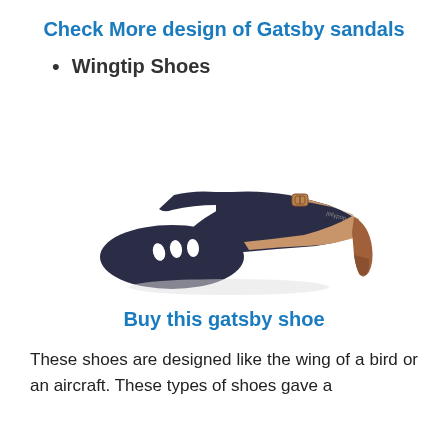Check More design of Gatsby sandals
Wingtip Shoes
[Figure (photo): Navy blue T-strap kitten heel pump with cutout details near the toe box and an ankle buckle strap, shown from a side angle on white background.]
Buy this gatsby shoe
These shoes are designed like the wing of a bird or an aircraft. These types of shoes gave a